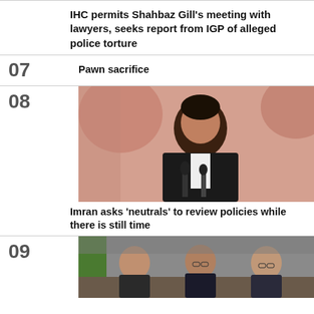IHC permits Shahbaz Gill's meeting with lawyers, seeks report from IGP of alleged police torture
07  Pawn sacrifice
[Figure (photo): Man in black suit speaking at a podium with microphones, against a pink/peach blurred background]
Imran asks 'neutrals' to review policies while there is still time
[Figure (photo): Three men seated at a table in formal setting]